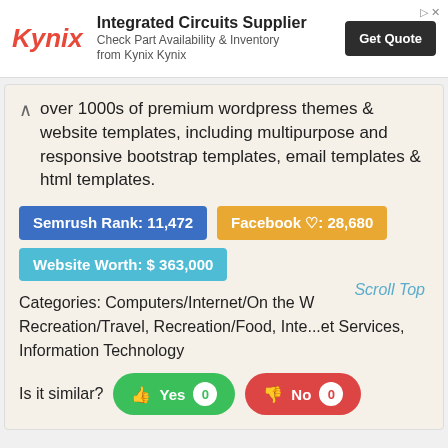[Figure (screenshot): Kynix Integrated Circuits Supplier advertisement banner with logo, tagline, and Get Quote button]
over 1000s of premium wordpress themes & website templates, including multipurpose and responsive bootstrap templates, email templates & html templates.
Semrush Rank: 11,472
Facebook ♡: 28,680
Website Worth: $ 363,000
Categories: Computers/Internet/On the W... Recreation/Travel, Recreation/Food, Inter...et Services, Information Technology
Scroll Top
Is it similar? Yes 0  No 0